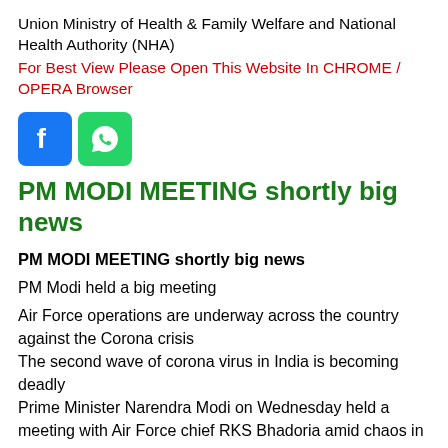Union Ministry of Health & Family Welfare and National Health Authority (NHA)
For Best View Please Open This Website In CHROME / OPERA Browser
[Figure (other): Facebook and WhatsApp social media icons]
PM MODI MEETING shortly big news
PM MODI MEETING shortly big news
PM Modi held a big meeting
Air Force operations are underway across the country against the Corona crisis
The second wave of corona virus in India is becoming deadly
Prime Minister Narendra Modi on Wednesday held a meeting with Air Force chief RKS Bhadoria amid chaos in the second wave of Corona virus in the country. At the